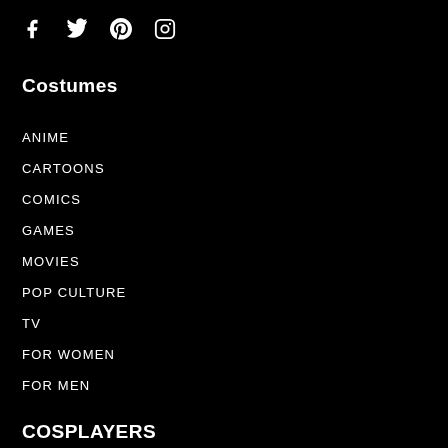Social media icons: Facebook, Twitter, Pinterest, Instagram
Costumes
ANIME
CARTOONS
COMICS
GAMES
MOVIES
POP CULTURE
TV
FOR WOMEN
FOR MEN
COSPLAYERS